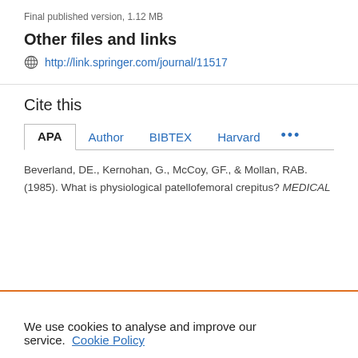Final published version, 1.12 MB
Other files and links
http://link.springer.com/journal/11517
Cite this
APA   Author   BIBTEX   Harvard   ...
Beverland, DE., Kernohan, G., McCoy, GF., & Mollan, RAB. (1985). What is physiological patellofemoral crepitus? MEDICAL
We use cookies to analyse and improve our service. Cookie Policy